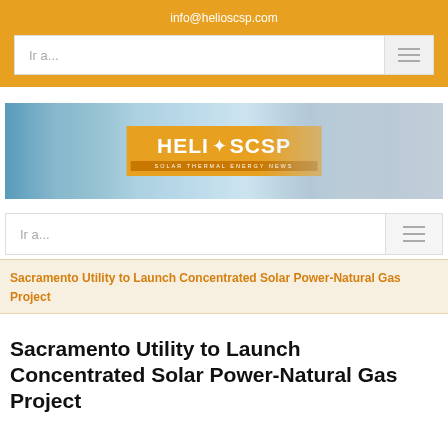info@helioscsp.com
[Figure (screenshot): Navigation bar with 'Ir a...' placeholder text and hamburger menu icon on orange background]
[Figure (logo): HELIOSCSP Solar Thermal Energy News banner logo with solar panel imagery in background]
[Figure (screenshot): Second navigation bar with 'Ir a...' placeholder text and hamburger menu icon]
Sacramento Utility to Launch Concentrated Solar Power-Natural Gas Project
Sacramento Utility to Launch Concentrated Solar Power-Natural Gas Project